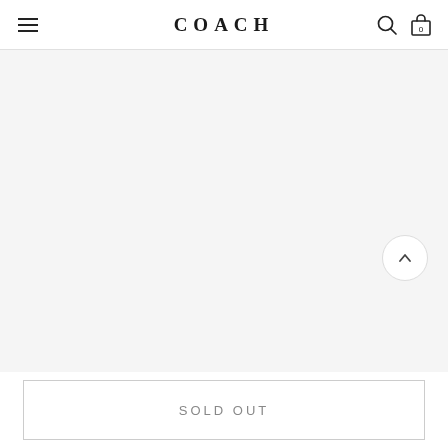COACH
[Figure (photo): Large product image area, shown as light gray placeholder background for a Coach product]
SOLD OUT